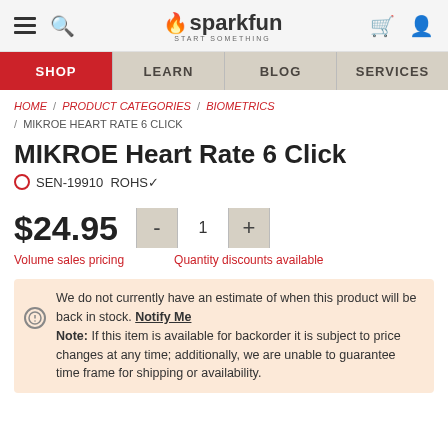SparkFun Electronics — START SOMETHING
SHOP | LEARN | BLOG | SERVICES
HOME / PRODUCT CATEGORIES / BIOMETRICS / MIKROE HEART RATE 6 CLICK
MIKROE Heart Rate 6 Click
SEN-19910 ROHS✓
$24.95
Volume sales pricing
Quantity discounts available
We do not currently have an estimate of when this product will be back in stock. Notify Me Note: If this item is available for backorder it is subject to price changes at any time; additionally, we are unable to guarantee time frame for shipping or availability.